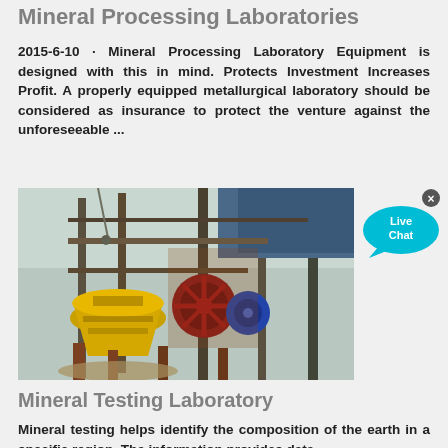Mineral Processing Laboratories
2015-6-10 · Mineral Processing Laboratory Equipment is designed with this in mind. Protects Investment Increases Profit. A properly equipped metallurgical laboratory should be considered as insurance to protect the venture against the unforeseeable ...
[Figure (photo): Industrial mineral processing equipment including a yellow cone crusher and a red-wheeled jaw crusher on a scaffolding structure, photographed outdoors.]
[Figure (other): Live Chat bubble icon in cyan/blue color with an X close button]
Mineral Testing Laboratory
Mineral testing helps identify the composition of the earth in a specific region. The information provides data